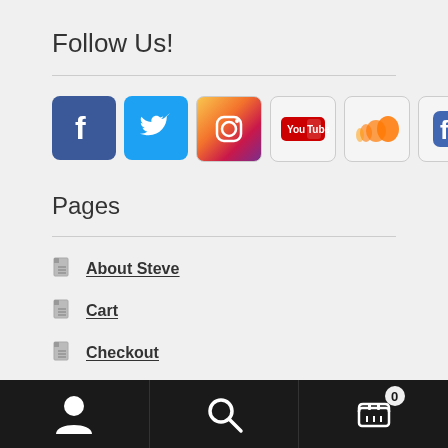Follow Us!
[Figure (other): Row of social media icons: Facebook (blue), Twitter (blue bird), Instagram, YouTube, SoundCloud, Facebook (line art)]
Pages
About Steve
Cart
Checkout
My Account
User icon | Search icon | Cart icon with badge 0